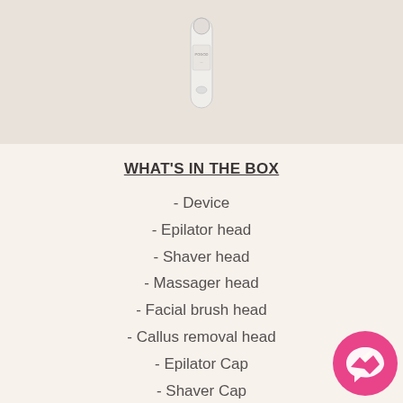[Figure (photo): Product photo of a white handheld epilator/beauty device standing upright on a light grey background]
WHAT'S IN THE BOX
- Device
- Epilator head
- Shaver head
- Massager head
- Facial brush head
- Callus removal head
- Epilator Cap
- Shaver Cap